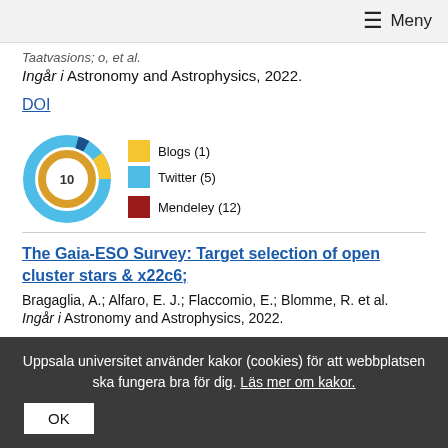≡ Meny
Taatvasions; o, et al.
Ingår i Astronomy and Astrophysics, 2022.
DOI
[Figure (infographic): Altmetric donut badge showing score 10, with legend: Blogs (1) in yellow, Twitter (5) in light blue, Mendeley (12) in dark red.]
The Gaia-ESO Survey: Target selection of open cluster stars & x22c6;
Bragaglia, A.; Alfaro, E. J.; Flaccomio, E.; Blomme, R. et al.
Ingår i Astronomy and Astrophysics, 2022.
Uppsala universitet använder kakor (cookies) för att webbplatsen ska fungera bra för dig. Läs mer om kakor. OK